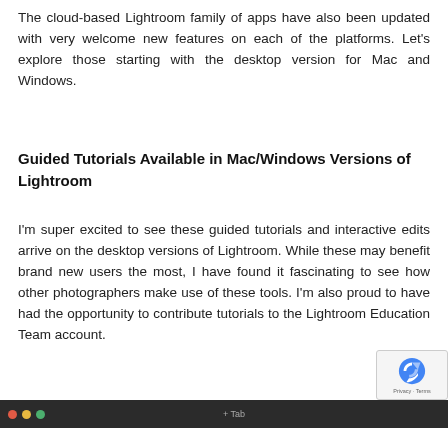The cloud-based Lightroom family of apps have also been updated with very welcome new features on each of the platforms. Let's explore those starting with the desktop version for Mac and Windows.
Guided Tutorials Available in Mac/Windows Versions of Lightroom
I'm super excited to see these guided tutorials and interactive edits arrive on the desktop versions of Lightroom. While these may benefit brand new users the most, I have found it fascinating to see how other photographers make use of these tools. I'm also proud to have had the opportunity to contribute tutorials to the Lightroom Education Team account.
[Figure (screenshot): Screenshot of a dark-themed application window showing a toolbar with traffic light buttons (red, yellow, green) and a tab bar]